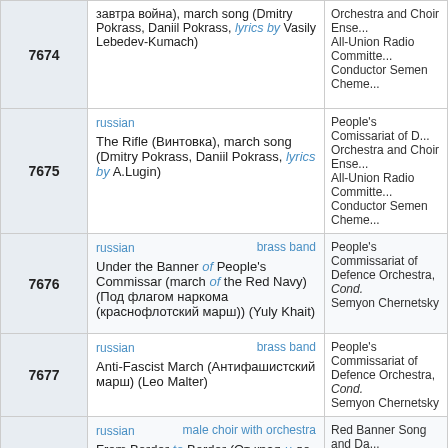| # | Info | Performer |
| --- | --- | --- |
| 7674 | russian
If Tomorrow Brings War (Если завтра война), march song (Dmitry Pokrass, Daniil Pokrass, lyrics by Vasily Lebedev-Kumach) | Orchestra and Choir Ensemble All-Union Radio Committee Conductor Semen Cheme... |
| 7675 | russian
The Rifle (Винтовка), march song (Dmitry Pokrass, Daniil Pokrass, lyrics by A.Lugin) | People's Comissariat of D... Orchestra and Choir Ense... All-Union Radio Committe... Conductor Semen Cheme... |
| 7676 | russian | brass band
Under the Banner of People's Commissar (march of the Red Navy) (Под флагом наркома (краснофлотский марш)) (Yuly Khait) | People's Commissariat of Defence Orchestra, Cond. Semyon Chernetsky |
| 7677 | russian | brass band
Anti-Fascist March (Антифашистский марш) (Leo Malter) | People's Commissariat of Defence Orchestra, Cond. Semyon Chernetsky |
| 7698 | russian | male choir with orchestra
From Border to Border (От края и до края) (Opera «And Quiet Flows the Don», act 4) (Ivan Dzerzhinsky, lyrics by Leonid Dzerzhinsky) | Red Banner Song and Da... Ensemble, Conductor Ale... Alexandrov |
|  | american, russian | brass band
Katinka (Катя-Катюша (Katinka)), foxtrot (Henry Tobias, arr. Vasily Agapkin) |  |
|  | american, russian | brass band
Katinka (Катя-Катюша (Katinka)), foxtrot (Henry...) |  |